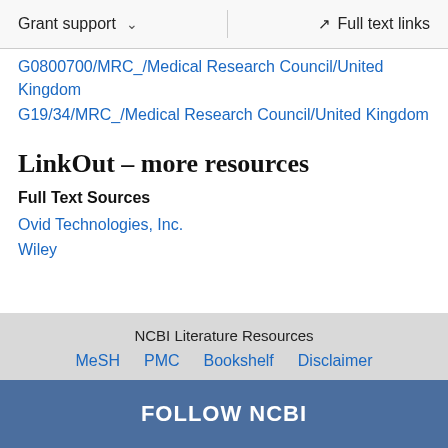Grant support  ∨    Full text links
G0800700/MRC_/Medical Research Council/United Kingdom
G19/34/MRC_/Medical Research Council/United Kingdom
LinkOut – more resources
Full Text Sources
Ovid Technologies, Inc.
Wiley
NCBI Literature Resources  MeSH  PMC  Bookshelf  Disclaimer
FOLLOW NCBI